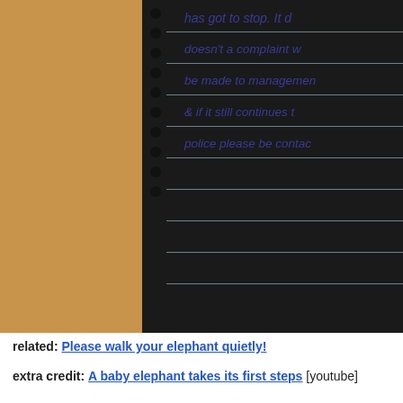[Figure (photo): A photo of a handwritten note on ruled notebook paper, pinned to a cork board. The visible handwritten text reads: 'has got to stop. It d[oesn't] a complaint w[ould] be made to managemen[t] & if it still continues t[he] police please be contac[ted]'. The left side shows a cork board background, and the notebook has black spiral binding holes.]
related: Please walk your elephant quietly!
extra credit: A baby elephant takes its first steps [youtube]